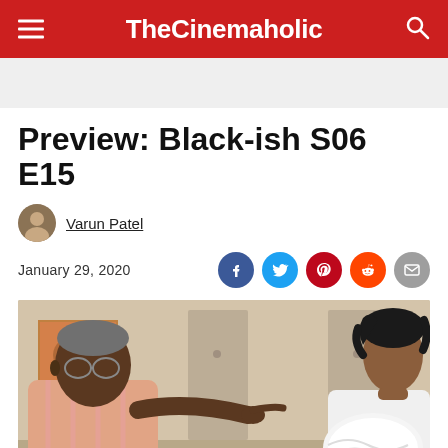TheCinemaholic
Preview: Black-ish S06 E15
Varun Patel
January 29, 2020
[Figure (photo): Scene from Black-ish S06 E15: an elderly man pointing his finger at a young woman holding a white fluffy pillow, seated in a living room setting]